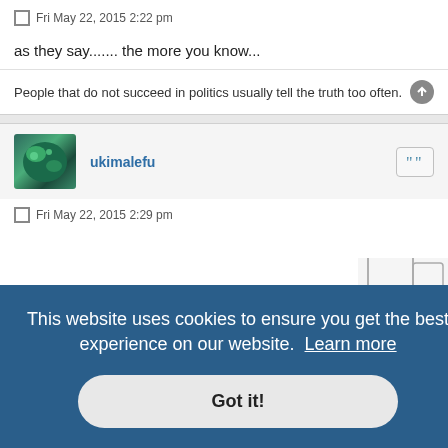Fri May 22, 2015 2:22 pm
as they say....... the more you know...
People that do not succeed in politics usually tell the truth too often.
ukimalefu
Fri May 22, 2015 2:29 pm
This website uses cookies to ensure you get the best experience on our website.  Learn more
Got it!
[Figure (illustration): Partial illustration/cartoon visible in the background behind the cookie consent banner]